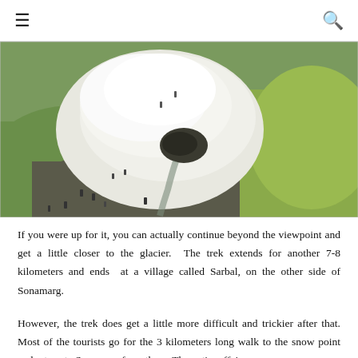≡  🔍
[Figure (photo): Aerial view of a glacier or snow patch surrounded by rocky terrain and green meadows, with small figures of people visible near the snow.]
If you were up for it, you can actually continue beyond the viewpoint and get a little closer to the glacier.  The trek extends for another 7-8 kilometers and ends at a village called Sarbal, on the other side of Sonamarg.
However, the trek does get a little more difficult and trickier after that. Most of the tourists go for the 3 kilometers long walk to the snow point and return to Sonamarg from there. The entire affair